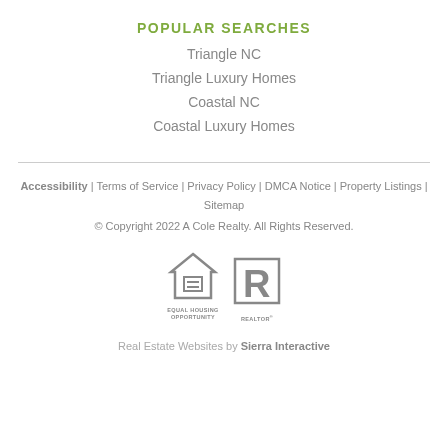POPULAR SEARCHES
Triangle NC
Triangle Luxury Homes
Coastal NC
Coastal Luxury Homes
Accessibility  |  Terms of Service  |  Privacy Policy  |  DMCA Notice  |  Property Listings  |  Sitemap
© Copyright 2022 A Cole Realty. All Rights Reserved.
[Figure (logo): Equal Housing Opportunity logo and REALTOR logo side by side]
Real Estate Websites by Sierra Interactive